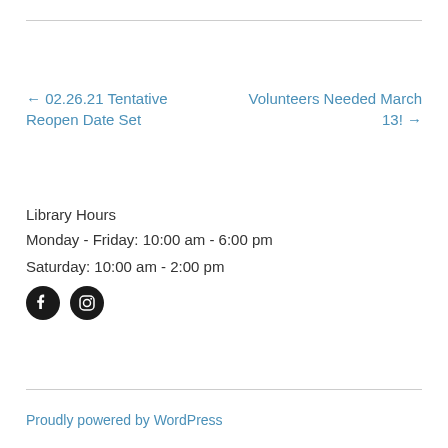← 02.26.21 Tentative Reopen Date Set
Volunteers Needed March 13! →
Library Hours
Monday - Friday: 10:00 am - 6:00 pm
Saturday: 10:00 am - 2:00 pm
[Figure (other): Facebook and Instagram social media icons]
Proudly powered by WordPress